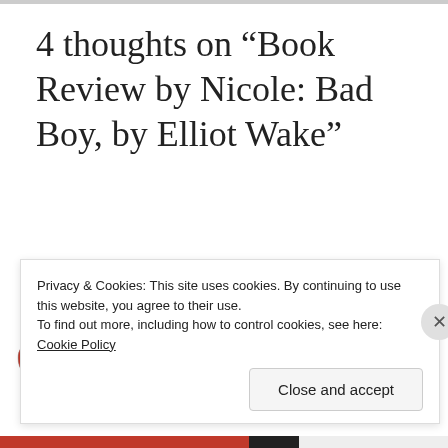4 thoughts on “Book Review by Nicole: Bad Boy, by Elliot Wake”
jenf27
Privacy & Cookies: This site uses cookies. By continuing to use this website, you agree to their use.
To find out more, including how to control cookies, see here: Cookie Policy
Close and accept